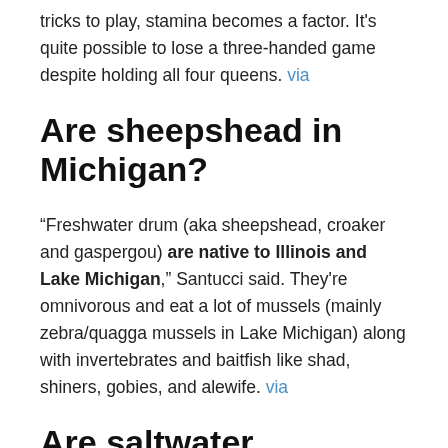tricks to play, stamina becomes a factor. It's quite possible to lose a three-handed game despite holding all four queens. via
Are sheepshead in Michigan?
“Freshwater drum (aka sheepshead, croaker and gaspergou) are native to Illinois and Lake Michigan,” Santucci said. They're omnivorous and eat a lot of mussels (mainly zebra/quagga mussels in Lake Michigan) along with invertebrates and baitfish like shad, shiners, gobies, and alewife. via
Are saltwater sheepshead good eating?